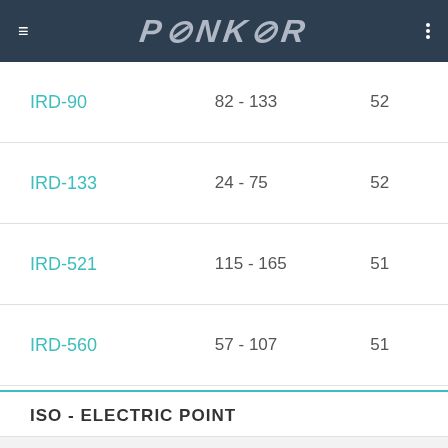PSKNSR
|  | Range | Value |
| --- | --- | --- |
| IRD-90 | 82 - 133 | 52 |
| IRD-133 | 24 - 75 | 52 |
| IRD-521 | 115 - 165 | 51 |
| IRD-560 | 57 - 107 | 51 |
ISO - ELECTRIC POINT
| ISO EELECTRIC POINT | CHARGE AT PH 7.4 | CHARGE |
| --- | --- | --- |
| 4.937 | -1.2 | -13.5 |